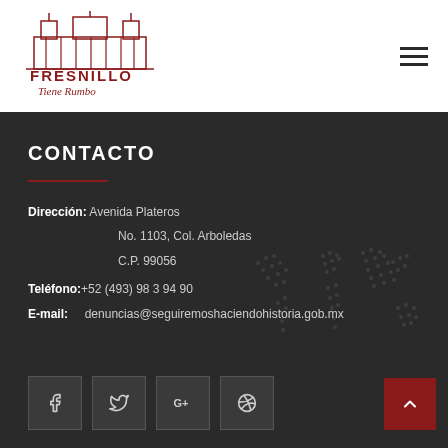[Figure (logo): Fresnillo Tiene Rumbo logo — building silhouette with the text FRESNILLO and cursive 'Tiene Rumbo' below]
CONTACTO
Dirección: Avenida Plateros No. 1103, Col. Arboledas C.P. 99056
Teléfono: +52 (493) 98 3 94 90
E-mail: denuncias@seguiremoshaciendohistoria.gob.mx
[Figure (illustration): Dotted world map background watermark]
[Figure (other): Social media icons: Facebook, Twitter, Google+, Dribbble]